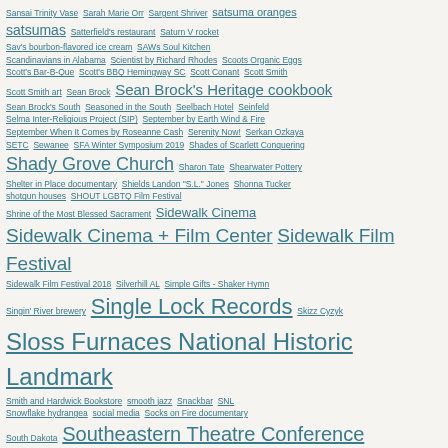Sansai Trinity Vase Sarah Marie Orr Sargent Shriver satsuma oranges satsumas Satterfield's restaurant Saturn V rocket Sav's bourbon-flavored ice cream SAWs Soul Kitchen Scandinavians in Alabama Scientist by Richard Rhodes Scoots Organic Eggs Scott's Bar-B-Que Scott's BBQ Hemingway SC Scott Conant Scott Smith Scott Smith art Sean Brock Sean Brock's Heritage cookbook Sean Brock's South Seasoned in the South Seelbach Hotel Seinfeld Selma Inter-Religious Project (SIP) September by Earth Wind & Fire September When It Comes by Roseanne Cash Serenity Now! Serkan Ozkaya SETC Sewanee SFA Winter Symposium 2019 Shades of Scarlett Conquering Shady Grove Church Sharon Tate Shearwater Pottery Shelter in Place documentary Shields Landon "S.L." Jones Shonna Tucker shotgun houses SHOUT LGBTQ Film Festival Shrine of the Most Blessed Sacrament Sidewalk Cinema Sidewalk Cinema + Film Center Sidewalk Film Festival Sidewalk Film Festival 2018 Silverhill AL Simple Gifts - Shaker Hymn Singin' River brewery Single Lock Records Skizz Cyzyk Sloss Furnaces National Historic Landmark Smith and Hardwick Bookstore smooth jazz Snackbar SNL Snowflake hydrangea social media Socks on Fire documentary South Dakota Southeastern Theatre Conference Southern Accents Architectural Antiques southern Appalachian foodways Southern architecture Southern art Southern cookbooks Southern Crescent southern culture Southern food and drink southern foodways Southern Foodways Alliance Southern gardening southern hunting Southern literature Southern Makers Southern National restaurant Southern politics Southern Poverty Law Center southern recipes Southern Research Institute Southern Roots restaurant Southern Strategy Southern summer Southern Thanksgiving